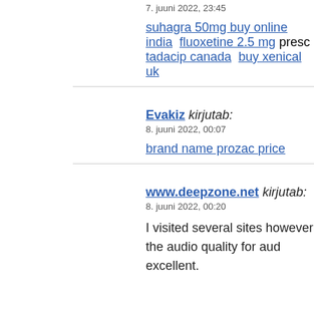7. juuni 2022, 23:45
suhagra 50mg buy online india fluoxetine 2.5 mg presc tadacip canada buy xenical uk
Evakiz kirjutab:
8. juuni 2022, 00:07
brand name prozac price
www.deepzone.net kirjutab:
8. juuni 2022, 00:20
I visited several sites however the audio quality for aud excellent.